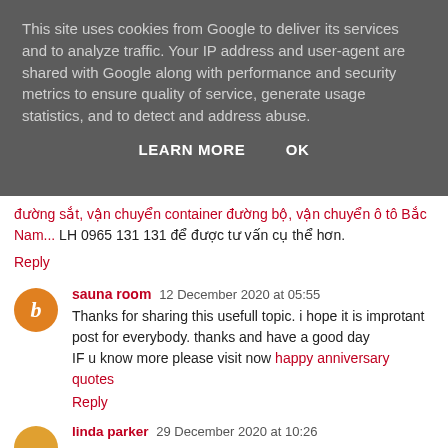This site uses cookies from Google to deliver its services and to analyze traffic. Your IP address and user-agent are shared with Google along with performance and security metrics to ensure quality of service, generate usage statistics, and to detect and address abuse.
LEARN MORE   OK
đường sắt, vận chuyển container đường bộ, vận chuyển ô tô Bắc Nam... LH 0965 131 131 để được tư vấn cụ thể hơn.
Reply
sauna room  12 December 2020 at 05:55
Thanks for sharing this usefull topic. i hope it is improtant post for everybody. thanks and have a good day
IF u know more please visit now happy anniversary quotes
Reply
linda parker  29 December 2020 at 10:26